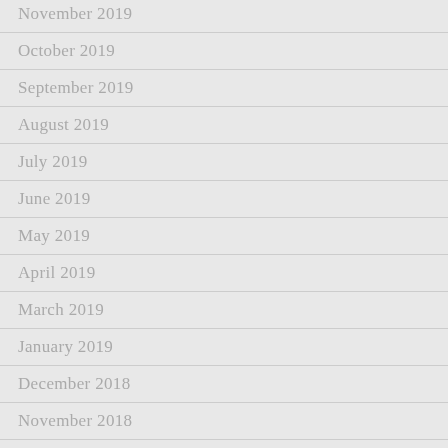November 2019
October 2019
September 2019
August 2019
July 2019
June 2019
May 2019
April 2019
March 2019
January 2019
December 2018
November 2018
October 2018
September 2018